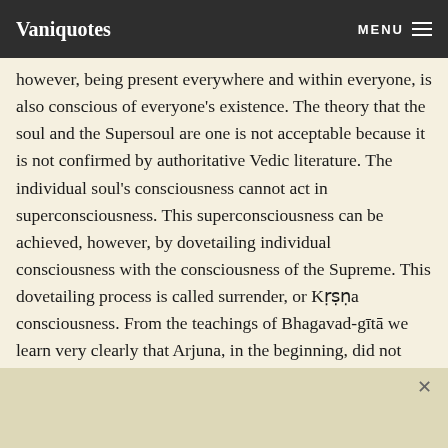Vaniquotes | MENU
however, being present everywhere and within everyone, is also conscious of everyone's existence. The theory that the soul and the Supersoul are one is not acceptable because it is not confirmed by authoritative Vedic literature. The individual soul's consciousness cannot act in superconsciousness. This superconsciousness can be achieved, however, by dovetailing individual consciousness with the consciousness of the Supreme. This dovetailing process is called surrender, or Kṛṣṇa consciousness. From the teachings of Bhagavad-gītā we learn very clearly that Arjuna, in the beginning, did not want to fight with his brothers and relatives, but after understanding